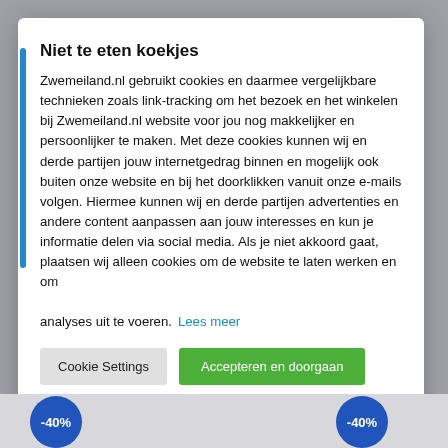Niet te eten koekjes
Zwemeiland.nl gebruikt cookies en daarmee vergelijkbare technieken zoals link-tracking om het bezoek en het winkelen bij Zwemeiland.nl website voor jou nog makkelijker en persoonlijker te maken. Met deze cookies kunnen wij en derde partijen jouw internetgedrag binnen en mogelijk ook buiten onze website en bij het doorklikken vanuit onze e-mails volgen. Hiermee kunnen wij en derde partijen advertenties en andere content aanpassen aan jouw interesses en kun je informatie delen via social media. Als je niet akkoord gaat, plaatsen wij alleen cookies om de website te laten werken en om analyses uit te voeren.
Lees meer
Cookie Settings
Accepteren en doorgaan
Doorgaan zonder cookies
[Figure (screenshot): Two blue circular discount badges partially visible at the bottom showing -40%]